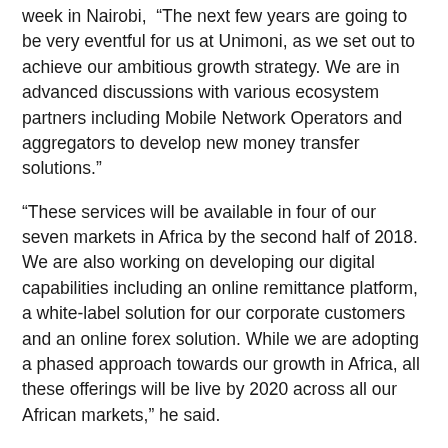week in Nairobi, “The next few years are going to be very eventful for us at Unimoni, as we set out to achieve our ambitious growth strategy. We are in advanced discussions with various ecosystem partners including Mobile Network Operators and aggregators to develop new money transfer solutions.”
“These services will be available in four of our seven markets in Africa by the second half of 2018. We are also working on developing our digital capabilities including an online remittance platform, a white-label solution for our corporate customers and an online forex solution. While we are adopting a phased approach towards our growth in Africa, all these offerings will be live by 2020 across all our African markets,” he said.
Finablr executive director, Promoth Manghat, Executive Director said: “As a Group, we have earmarked $100 million in investments to support our growth and expansion efforts